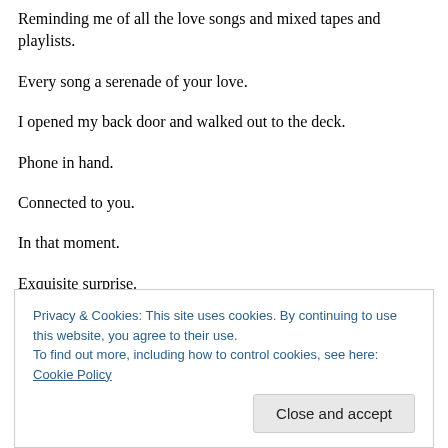Reminding me of all the love songs and mixed tapes and playlists.
Every song a serenade of your love.
I opened my back door and walked out to the deck.
Phone in hand.
Connected to you.
In that moment.
Exquisite surprise.
Privacy & Cookies: This site uses cookies. By continuing to use this website, you agree to their use. To find out more, including how to control cookies, see here: Cookie Policy